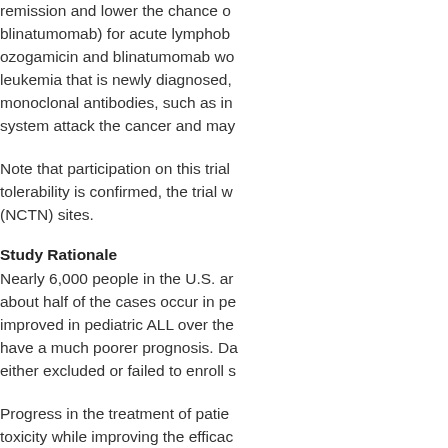remission and lower the chance of relapse. Drugs such as inotuzumab ozogamicin (also called Besylomab) and blinatumomab) for acute lymphoblastic leukemia (ALL). Studies are looking at whether inotuzumab ozogamicin and blinatumomab work better than standard treatment in adults with acute lymphoblastic leukemia that is newly diagnosed, or that has come back or not responded to treatment. Other monoclonal antibodies, such as immunotherapy drugs, are being studied. These drugs help the immune system attack the cancer and may work better with less side effects.
Note that participation on this trial will initially be limited to a small number of patients. Once safety and tolerability is confirmed, the trial will expand to all NCI National Clinical Trials Network (NCTN) sites.
Study Rationale
Nearly 6,000 people in the U.S. are diagnosed with acute lymphoblastic leukemia (ALL) each year, and about half of the cases occur in people age 20 and older. While treatment outcomes have markedly improved in pediatric ALL over the last several decades, adults with ALL continue to have a much poorer prognosis. Data from adult ALL clinical trials show that older patients were either excluded or failed to enroll s...
Progress in the treatment of patients with ALL has involved finding ways to reduce toxicity while improving the efficacy of treatment. Newer agents that target ALL cells more specifically, with more favorable toxicity profiles compared to conventional chemotherapy agents, hold promise to improve outcomes for adults with newly diagnosed ALL. These include blinatumomab, inotuzumab  ozogamicin, and other targeted therapies that have shown high response rates in a desperate pop...